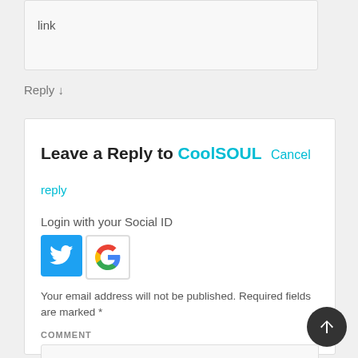link
Reply ↓
Leave a Reply to CoolSOUL   Cancel reply
reply
Login with your Social ID
[Figure (logo): Twitter and Google social login buttons]
Your email address will not be published. Required fields are marked *
COMMENT